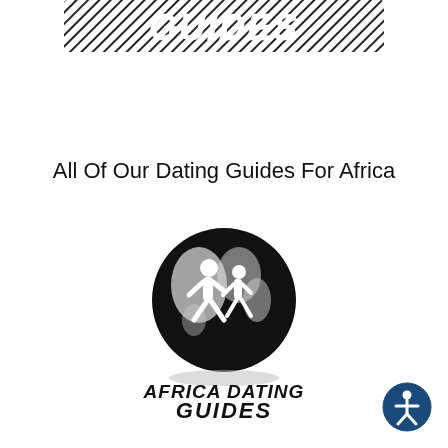[Figure (logo): Partial logo at top of page showing 'GUIDES' text in bold italic black with hatching/stripes effect, part of a dating guides logo cut off at top]
All Of Our Dating Guides For Africa
[Figure (logo): Africa Dating Guides logo: black circle with globe and two silhouetted running figures, with text 'AFRICA DATING GUIDES' in bold italic black below the globe]
[Figure (logo): Accessibility icon: circular dark blue badge with white wheelchair/person accessibility symbol]